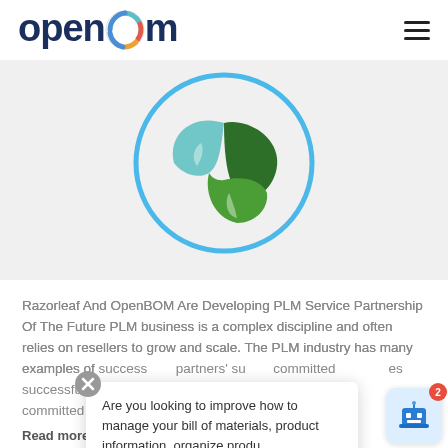openbom
[Figure (logo): Razorleaf company logo: circular blue ring containing three swirling leaf/petal shapes in teal, dark green, and medium green]
Razorleaf And OpenBOM Are Developing PLM Service Partnership Of The Future PLM business is a complex discipline and often relies on resellers to grow and scale. The PLM industry has many examples of successful partners' support committed to es
Read more ▶
Are you looking to improve how to manage your bill of materials, product information, organize produ...